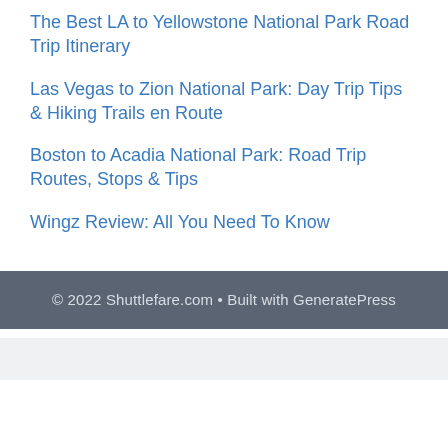The Best LA to Yellowstone National Park Road Trip Itinerary
Las Vegas to Zion National Park: Day Trip Tips & Hiking Trails en Route
Boston to Acadia National Park: Road Trip Routes, Stops & Tips
Wingz Review: All You Need To Know
© 2022 Shuttlefare.com • Built with GeneratePress